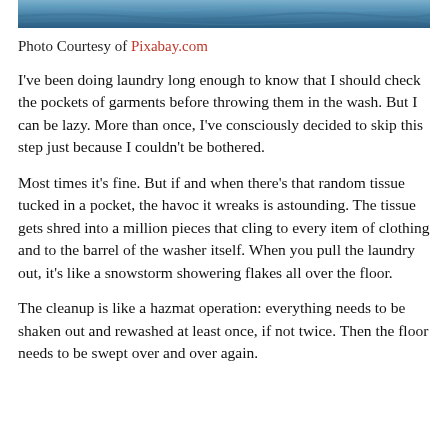[Figure (photo): Top portion of a photo showing blue textured fabric or water surface]
Photo Courtesy of Pixabay.com
I've been doing laundry long enough to know that I should check the pockets of garments before throwing them in the wash. But I can be lazy. More than once, I've consciously decided to skip this step just because I couldn't be bothered.
Most times it's fine. But if and when there's that random tissue tucked in a pocket, the havoc it wreaks is astounding. The tissue gets shred into a million pieces that cling to every item of clothing and to the barrel of the washer itself. When you pull the laundry out, it's like a snowstorm showering flakes all over the floor.
The cleanup is like a hazmat operation: everything needs to be shaken out and rewashed at least once, if not twice. Then the floor needs to be swept over and over again.